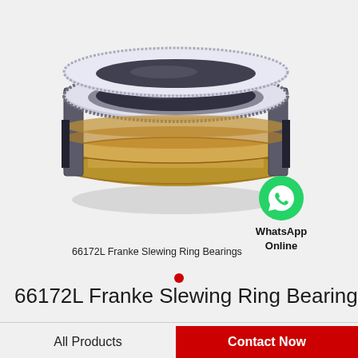[Figure (photo): 66172L Franke Slewing Ring Bearing — a large circular ring bearing with gear teeth around the outer ring, metallic silver/gold finish, shown in 3D perspective view. A WhatsApp green phone icon is shown to the right with text 'WhatsApp Online'.]
66172L Franke Slewing Ring Bearings
66172L Franke Slewing Ring Bearings
All Products
Contact Now